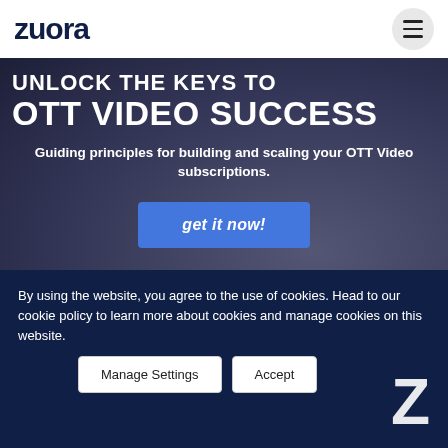[Figure (logo): Zuora logo in dark navy text]
[Figure (photo): Hero banner with a person on a dark background, text overlay: UNLOCK THE KEYS TO OTT VIDEO SUCCESS]
UNLOCK THE KEYS TO OTT VIDEO SUCCESS
Guiding principles for building and scaling your OTT Video subscriptions.
get it now!
By using the website, you agree to the use of cookies. Head to our cookie policy to learn more about cookies and manage cookies on this website.
Manage Settings
Accept